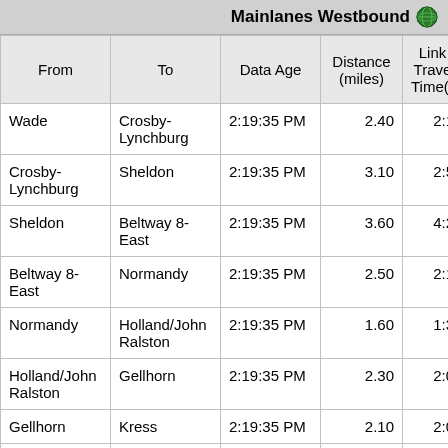Mainlanes Westbound
| From | To | Data Age | Distance (miles) | Link Travel Time(m:ss) |
| --- | --- | --- | --- | --- |
| Wade | Crosby-Lynchburg | 2:19:35 PM | 2.40 | 2:1 |
| Crosby-Lynchburg | Sheldon | 2:19:35 PM | 3.10 | 2:5 |
| Sheldon | Beltway 8-East | 2:19:35 PM | 3.60 | 4:2 |
| Beltway 8-East | Normandy | 2:19:35 PM | 2.50 | 2:1 |
| Normandy | Holland/John Ralston | 2:19:35 PM | 1.60 | 1:3 |
| Holland/John Ralston | Gellhorn | 2:19:35 PM | 2.30 | 2:0 |
| Gellhorn | Kress | 2:19:35 PM | 2.10 | 2:0 |
| Kress | Gregg | 2:19:35 PM | 1.70 | 1:2 |